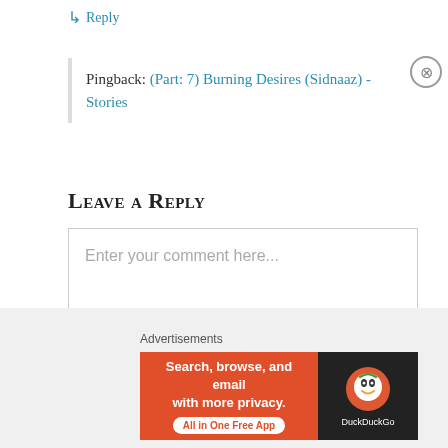↳ Reply
Pingback: (Part: 7) Burning Desires (Sidnaaz) - Stories
Leave a Reply
Enter your comment here...
Subscribe to Blog via Email
Advertisements
[Figure (screenshot): DuckDuckGo advertisement banner: orange background on left with text 'Search, browse, and email with more privacy. All in One Free App' and dark background on right with DuckDuckGo duck logo and brand name.]